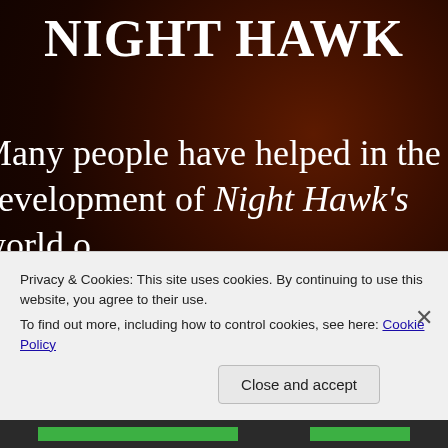NIGHT HAWK
Many people have helped in the development of Night Hawk's world over the years. However, the two that contributed the most to the stories are Loraine's mother, Jeanine Bart along with good friend and fellow writer Carrie Moriarty
Privacy & Cookies: This site uses cookies. By continuing to use this website, you agree to their use. To find out more, including how to control cookies, see here: Cookie Policy
Close and accept